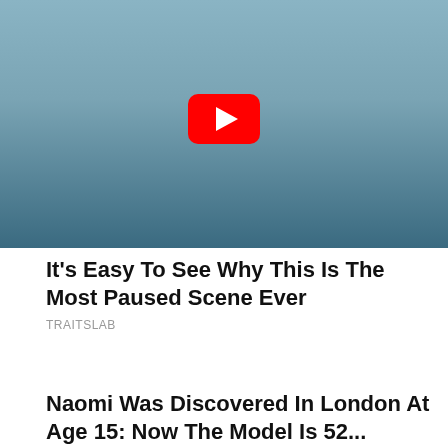[Figure (screenshot): Video thumbnail showing a person seated in a chair with a YouTube play button overlay, dark cinematic scene]
It's Easy To See Why This Is The Most Paused Scene Ever
TRAITSLAB
Naomi Was Discovered In London At Age 15: Now The Model Is 52...